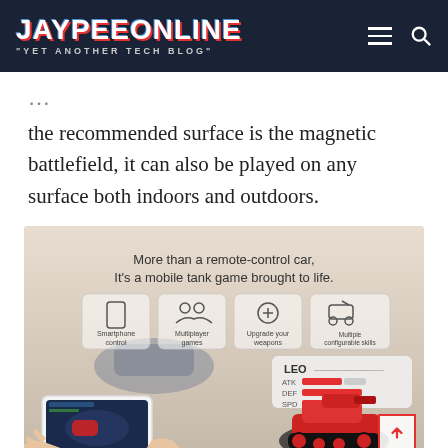JAYPEEONLINE "YET ANOTHER TECH BLOG"
the recommended surface is the magnetic battlefield, it can also be played on any surface both indoors and outdoors.
[Figure (photo): Product promotional image showing a red remote-control tank toy being controlled by a smartphone. Text reads 'More than a remote-control car, It's a mobile tank game brought to life.' with icons for Smartphone control, Multiplayer games, Upgrade your weapons, Multiple configurable skills. An in-game screenshot is shown on the phone screen.]